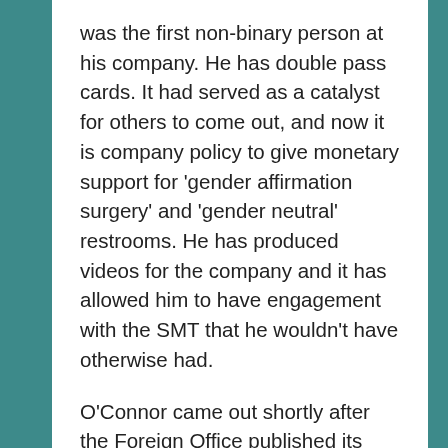was the first non-binary person at his company. He has double pass cards. It had served as a catalyst for others to come out, and now it is company policy to give monetary support for 'gender affirmation surgery' and 'gender neutral' restrooms. He has produced videos for the company and it has allowed him to have engagement with the SMT that he wouldn't have otherwise had.
O'Connor came out shortly after the Foreign Office published its trans inclusion policy and that it was very important that organisations do this, otherwise people might stay closeted. He was the first visible trans person (i.e. insinuating there many who were 'stealth'). He